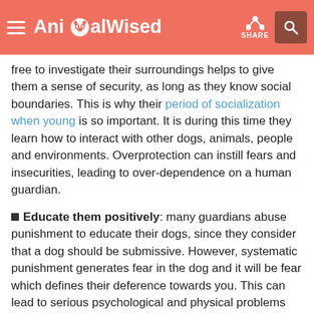AnimalWised | SHARE
free to investigate their surroundings helps to give them a sense of security, as long as they know social boundaries. This is why their period of socialization when young is so important. It is during this time they learn how to interact with other dogs, animals, people and environments. Overprotection can instill fears and insecurities, leading to over-dependence on a human guardian.
Educate them positively: many guardians abuse punishment to educate their dogs, since they consider that a dog should be submissive. However, systematic punishment generates fear in the dog and it will be fear which defines their deference towards you. This can lead to serious psychological and physical problems which can be avoided with a more respectful, positive and consistent education. To learn more, take a look at our guide to the negative effects of punishment.